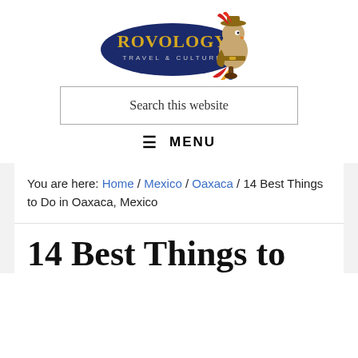[Figure (logo): Rovology Travel & Culture logo with a cartoon parrot mascot in explorer outfit, navy blue oval banner with gold text]
Search this website
≡ MENU
You are here: Home / Mexico / Oaxaca / 14 Best Things to Do in Oaxaca, Mexico
14 Best Things to